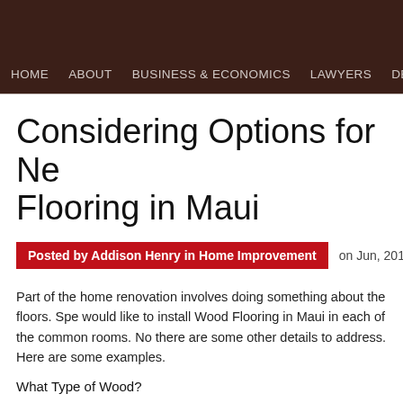HOME   ABOUT   BUSINESS & ECONOMICS   LAWYERS   DENTIST
Considering Options for New Flooring in Maui
Posted by Addison Henry in Home Improvement   on Jun, 2016 | 0 c
Part of the home renovation involves doing something about the floors. Spe would like to install Wood Flooring in Maui in each of the common rooms. No there are some other details to address. Here are some examples.
What Type of Wood?
There is more than one kind of wood used for home flooring. Some are treat others are chosen because of the type of grain present. A contractor can sho and go over the merits of each one. That information will make it much easie Ma it th i ki d f th d